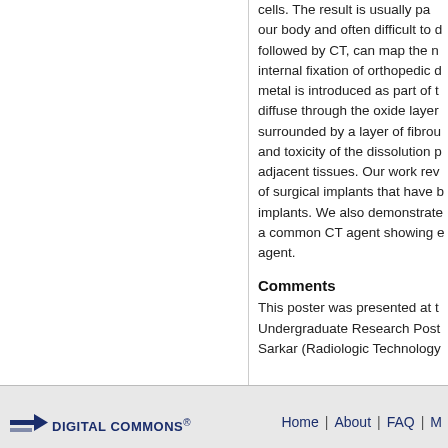cells. The result is usually painful and harmful to our body and often difficult to detect. CT, followed by CT, can map the nature of open internal fixation of orthopedic devices when metal is introduced as part of the implant, diffuse through the oxide layer and are surrounded by a layer of fibrous tissue, and toxicity of the dissolution products in adjacent tissues. Our work reveals the nature of surgical implants that have been used as implants. We also demonstrate barium sulfate as a common CT agent showing enhanced CT agent.
Comments
This poster was presented at the Undergraduate Research Poster... Sarkar (Radiologic Technology...
Home | About | FAQ | M...